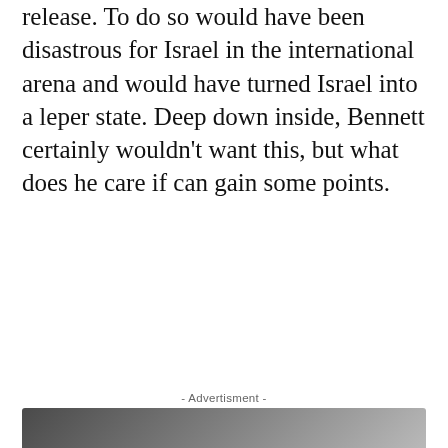release. To do so would have been disastrous for Israel in the international arena and would have turned Israel into a leper state. Deep down inside, Bennett certainly wouldn't want this, but what does he care if can gain some points.
- Advertisment -
[Figure (other): Advertisement banner with dark gradient background showing 'Managed Hosting by wpengine.com']